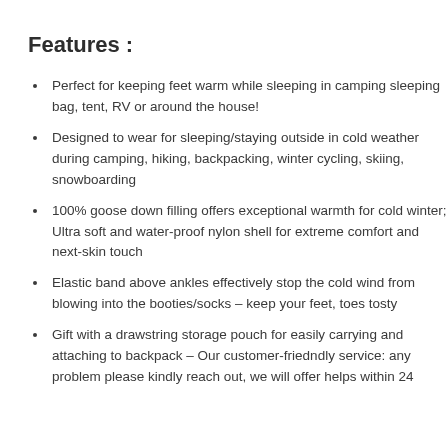Features :
Perfect for keeping feet warm while sleeping in camping sleeping bag, tent, RV or around the house!
Designed to wear for sleeping/staying outside in cold weather during camping, hiking, backpacking, winter cycling, skiing, snowboarding
100% goose down filling offers exceptional warmth for cold winter; Ultra soft and water-proof nylon shell for extreme comfort and next-skin touch
Elastic band above ankles effectively stop the cold wind from blowing into the booties/socks – keep your feet, toes tosty
Gift with a drawstring storage pouch for easily carrying and attaching to backpack – Our customer-friedndly service: any problem please kindly reach out, we will offer helps within 24